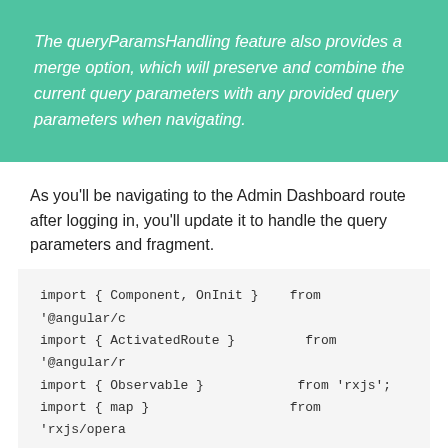The queryParamsHandling feature also provides a merge option, which will preserve and combine the current query parameters with any provided query parameters when navigating.
As you'll be navigating to the Admin Dashboard route after logging in, you'll update it to handle the query parameters and fragment.
import { Component, OnInit } from '@angular/c
import { ActivatedRoute }         from '@angular/r
import { Observable }             from 'rxjs';
import { map }                    from 'rxjs/opera

@Component({
  selector: 'app-admin-dashboard',
  templateUrl: './admin-dashboard.component.ht